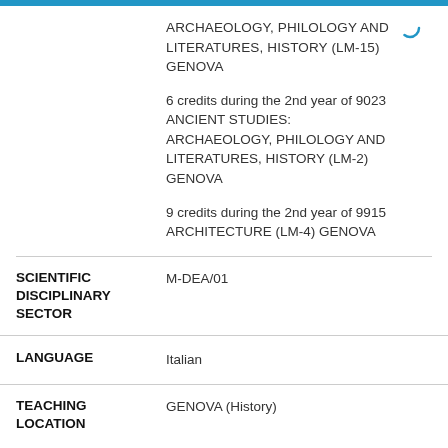ARCHAEOLOGY, PHILOLOGY AND LITERATURES, HISTORY (LM-15) GENOVA
6 credits during the 2nd year of 9023 ANCIENT STUDIES: ARCHAEOLOGY, PHILOLOGY AND LITERATURES, HISTORY (LM-2) GENOVA
9 credits during the 2nd year of 9915 ARCHITECTURE (LM-4) GENOVA
| Field | Value |
| --- | --- |
| SCIENTIFIC DISCIPLINARY SECTOR | M-DEA/01 |
| LANGUAGE | Italian |
| TEACHING LOCATION | GENOVA (History) |